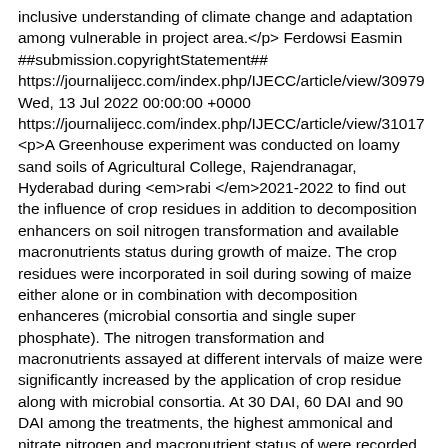inclusive understanding of climate change and adaptation among vulnerable in project area.</p> Ferdowsi Easmin ##submission.copyrightStatement## https://journalijecc.com/index.php/IJECC/article/view/30979 Wed, 13 Jul 2022 00:00:00 +0000 https://journalijecc.com/index.php/IJECC/article/view/31017 <p>A Greenhouse experiment was conducted on loamy sand soils of Agricultural College, Rajendranagar, Hyderabad during <em>rabi</em>2021-2022 to find out the influence of crop residues in addition to decomposition enhancers on soil nitrogen transformation and available macronutrients status during growth of maize. The crop residues were incorporated in soil during sowing of maize either alone or in combination with decomposition enhanceres (microbial consortia and single super phosphate). The nitrogen transformation and macronutrients assayed at different intervals of maize were significantly increased by the application of crop residue along with microbial consortia. At 30 DAI, 60 DAI and 90 DAI among the treatments, the highest ammonical and nitrate nitrogen and macronutrient status of were recorded with T<sub>9</sub>(T<sub>5</sub> + as Microbial consortium @ 1.5%) and it was on par with the treatment T<sub>13</sub> (T<sub>5</sub> + as Single Super Phosphate @5%). At 120 DAI among the treatments highest ammonical and nitrate nitrogen and macronutrient status of were recorded with T<sub>8</sub> (T<sub>4</sub>+ as Microbial consortium @